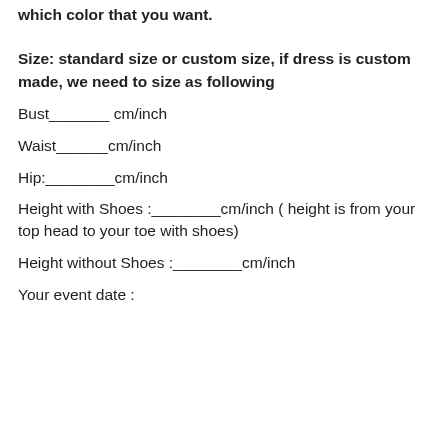color. Also, please leave us a message with which color that you want.
Size: standard size or custom size, if dress is custom made, we need to size as following
Bust_______ cm/inch
Waist______cm/inch
Hip:________cm/inch
Height with Shoes :________cm/inch ( height is from your top head to your toe with shoes)
Height without Shoes :________cm/inch
Your event date :